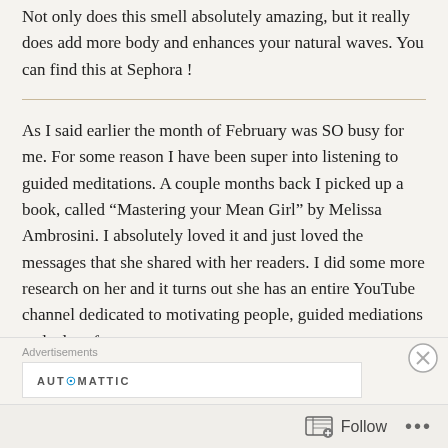Not only does this smell absolutely amazing, but it really does add more body and enhances your natural waves. You can find this at Sephora !
As I said earlier the month of February was SO busy for me. For some reason I have been super into listening to guided meditations. A couple months back I picked up a book, called “Mastering your Mean Girl” by Melissa Ambrosini. I absolutely loved it and just loved the messages that she shared with her readers. I did some more research on her and it turns out she has an entire YouTube channel dedicated to motivating people, guided mediations and a lot of
Advertisements
AUTOMATTIC
Follow